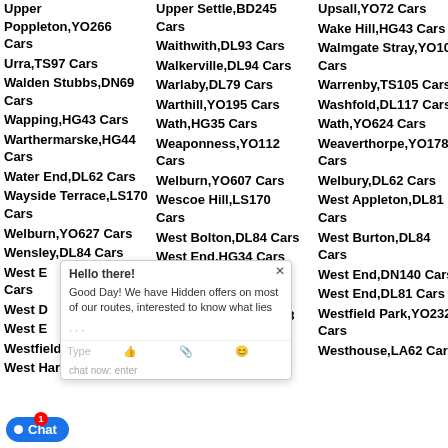Upper Poppleton,YO266 Cars
Upper Settle,BD245 Cars
Upsall,YO72 Cars
Urra,TS97 Cars
Waithwith,DL93 Cars
Wake Hill,HG43 Cars
Walden Stubbs,DN69 Cars
Walkerville,DL94 Cars
Walmgate Stray,YO105 Cars
Wapping,HG43 Cars
Warlaby,DL79 Cars
Warrenby,TS105 Cars
Warthermarske,HG44 Cars
Warthill,YO195 Cars
Washfold,DL117 Cars
Water End,DL62 Cars
Wath,HG35 Cars
Wath,YO624 Cars
Wayside Terrace,LS170 Cars
Weaponness,YO112 Cars
Weaverthorpe,YO178 Cars
Welburn,YO627 Cars
Welburn,YO607 Cars
Welbury,DL62 Cars
Wensley,DL84 Cars
Wescoe Hill,LS170 Cars
West Appleton,DL81 Cars
West Bolton,DL84 Cars
West Burton,DL84 Cars
West End,HG34 Cars
West End,DN140 Cars
West End,BD234 Cars
West End,DL81 Cars
Westfield Park,YO232 Cars
Westfield,YO84 Cars
Westfield,TS101 Cars
West Heslerton,YO178 Cars
West Harley,DL62 Cars
Westhouse,LA62 Cars